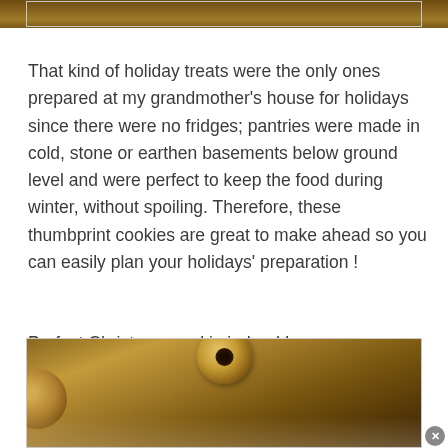[Figure (photo): Top portion of a food/cookie photo, showing a warm brown textured surface with holiday thumbprint cookies]
That kind of holiday treats were the only ones prepared at my grandmother’s house for holidays since there were no fridges; pantries were made in cold, stone or earthen basements below ground level and were perfect to keep the food during winter, without spoiling. Therefore, these thumbprint cookies are great to make ahead so you can easily plan your holidays’ preparation !
Perfect Christmas cookie indeed !
[Figure (photo): Bottom portion showing thumbprint cookies with dark chocolate centers on a powdered sugar dusted surface, warm brown tones]